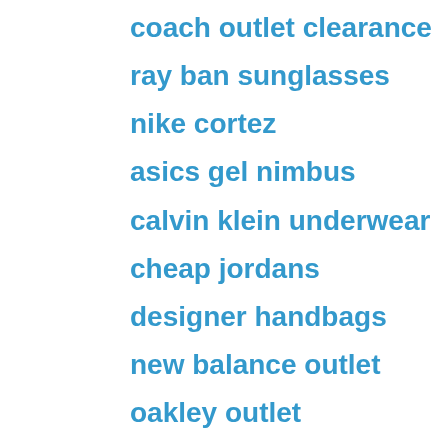coach outlet clearance
ray ban sunglasses
nike cortez
asics gel nimbus
calvin klein underwear
cheap jordans
designer handbags
new balance outlet
oakley outlet
coach outlet
michael kors outlet
mont blanc pens
michael kors handbags
omega seamaster
marc jacobs handbags
louis vuitton pas cher
canada goose jackets
polo ralph lauren
pandora jewelry
michael kors outlet
michael kors outlet clearance
cheap jordans
christian louboutin